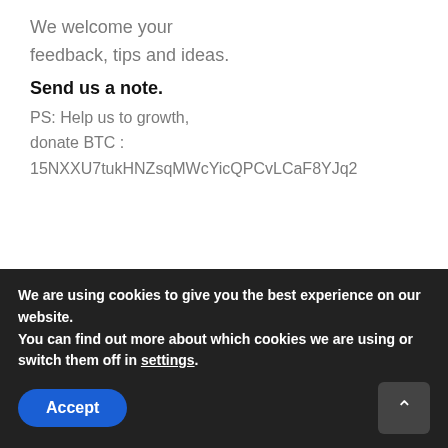We welcome your feedback, tips and ideas.
Send us a note.
PS: Help us to growth, donate BTC : 15NXXU7tukHNZsqMWcYicQPCvLCaF8YJq2
FOLLOW NOW
RECENT POSTS
IG.
> NIO ET7 Prototypes
We are using cookies to give you the best experience on our website.
You can find out more about which cookies we are using or switch them off in settings.